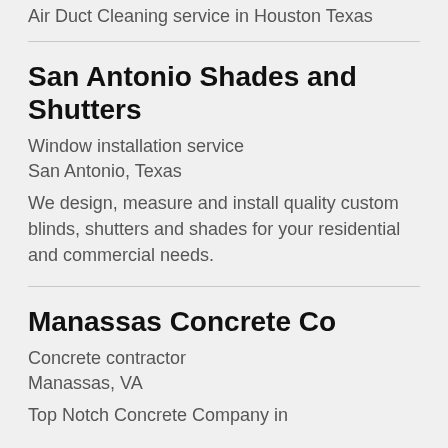Air Duct Cleaning service in Houston Texas
San Antonio Shades and Shutters
Window installation service
San Antonio, Texas
We design, measure and install quality custom blinds, shutters and shades for your residential and commercial needs.
Manassas Concrete Co
Concrete contractor
Manassas, VA
Top Notch Concrete Company in